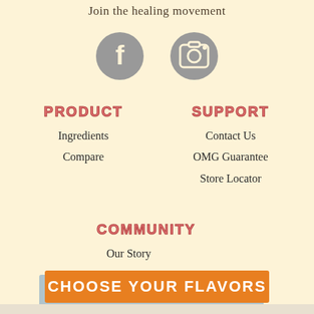Join the healing movement
[Figure (illustration): Two social media icons: Facebook (f) and Instagram (camera) in gray circles]
PRODUCT
Ingredients
Compare
SUPPORT
Contact Us
OMG Guarantee
Store Locator
COMMUNITY
Our Story
Our Mission
[Figure (other): Orange call-to-action button with text CHOOSE YOUR FLAVORS on a light blue panel background]